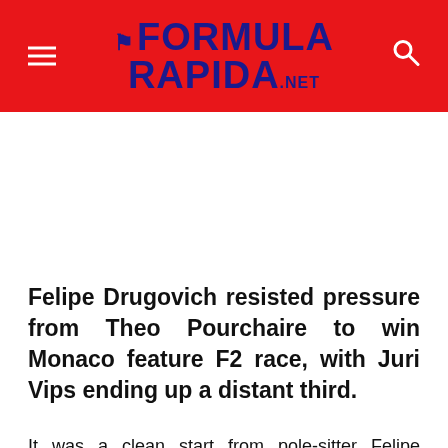FORMULA RAPIDA.NET
Felipe Drugovich resisted pressure from Theo Pourchaire to win Monaco feature F2 race, with Juri Vips ending up a distant third.
It was a clean start from pole-sitter Felipe Drugovich in his MP Motorsport car in feature F2